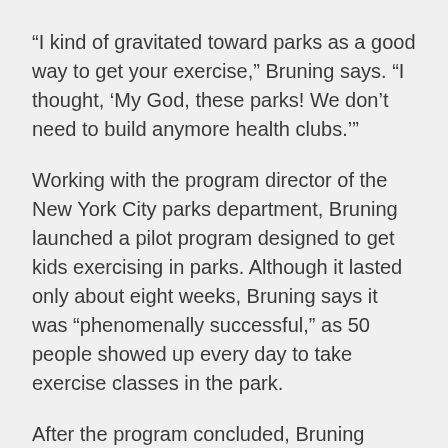“I kind of gravitated toward parks as a good way to get your exercise,” Bruning says. “I thought, ‘My God, these parks! We don’t need to build anymore health clubs.’”
Working with the program director of the New York City parks department, Bruning launched a pilot program designed to get kids exercising in parks. Although it lasted only about eight weeks, Bruning says it was “phenomenally successful,” as 50 people showed up every day to take exercise classes in the park.
After the program concluded, Bruning decided to put all her training together and came up with “Nancerize,” offering one-on-one and group classes to clients to help them workout in outdoor spaces.
With years of Nancerizing behind her, Bruning now is aiming to spread the word.